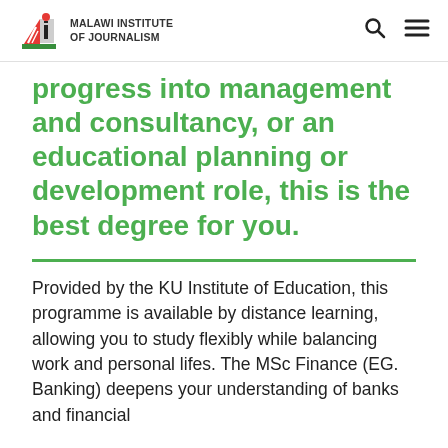MALAWI INSTITUTE OF JOURNALISM
progress into management and consultancy, or an educational planning or development role, this is the best degree for you.
Provided by the KU Institute of Education, this programme is available by distance learning, allowing you to study flexibly while balancing work and personal lifes. The MSc Finance (EG. Banking) deepens your understanding of banks and financial